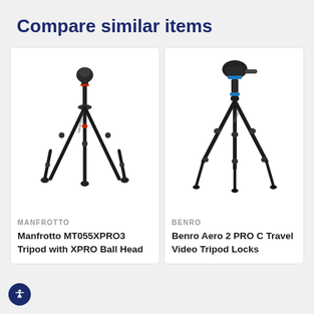Compare similar items
[Figure (photo): Manfrotto MT055XPRO3 tripod with XPRO ball head — black tripod with three legs extended, ball head on top]
MANFROTTO
Manfrotto MT055XPRO3 Tripod with XPRO Ball Head
[Figure (photo): Benro Aero 2 PRO carbon travel video tripod with twist locks — dark carbon fiber tripod with blue accent hardware]
BENRO
Benro Aero 2 PRO C Travel Video Tripod Locks